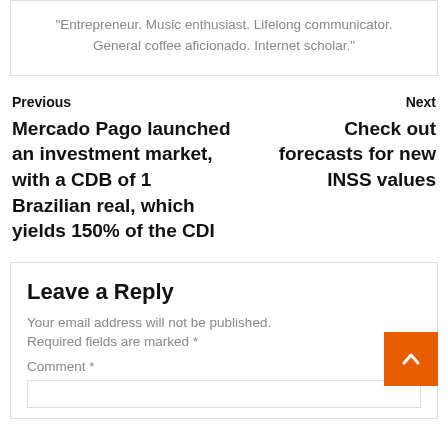"Entrepreneur. Music enthusiast. Lifelong communicator. General coffee aficionado. Internet scholar."
Previous
Mercado Pago launched an investment market, with a CDB of 1 Brazilian real, which yields 150% of the CDI
Next
Check out forecasts for new INSS values
Leave a Reply
Your email address will not be published.
Required fields are marked *
Comment *